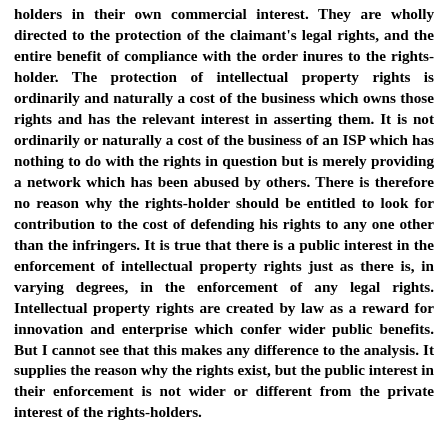holders in their own commercial interest. They are wholly directed to the protection of the claimant's legal rights, and the entire benefit of compliance with the order inures to the rights-holder. The protection of intellectual property rights is ordinarily and naturally a cost of the business which owns those rights and has the relevant interest in asserting them. It is not ordinarily or naturally a cost of the business of an ISP which has nothing to do with the rights in question but is merely providing a network which has been abused by others. There is therefore no reason why the rights-holder should be entitled to look for contribution to the cost of defending his rights to any one other than the infringers. It is true that there is a public interest in the enforcement of intellectual property rights just as there is, in varying degrees, in the enforcement of any legal rights. Intellectual property rights are created by law as a reward for innovation and enterprise which confer wider public benefits. But I cannot see that this makes any difference to the analysis. It supplies the reason why the rights exist, but the public interest in their enforcement is not wider or different from the private interest of the rights-holders.